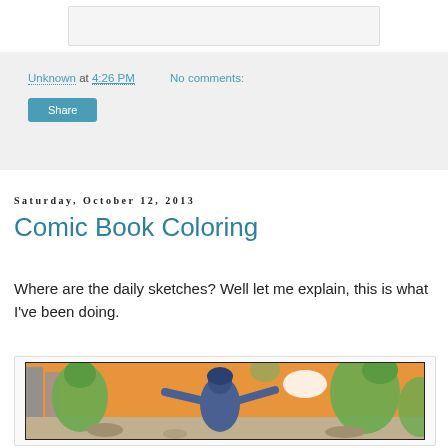[Figure (illustration): Partial top image, cropped comic or illustration, mostly white/light]
Unknown at 4:26 PM    No comments:
Share
Saturday, October 12, 2013
Comic Book Coloring
Where are the daily sketches? Well let me explain, this is what I've been doing.
[Figure (illustration): Comic book panel showing a soldier in blue fighting green alien/monster creatures in an orange-sky battle scene]